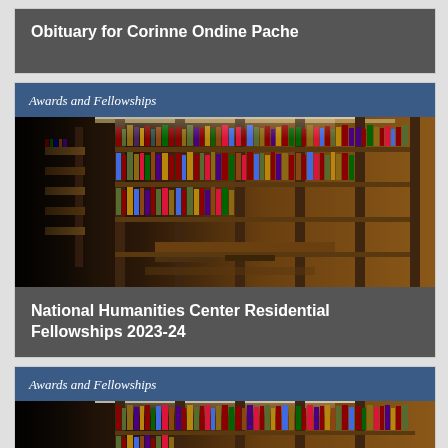Obituary for Corinne Ondine Pache
Awards and Fellowships
[Figure (photo): Interior of a large library with tall wooden bookshelves filled with books, long reading tables, and high arched ceiling.]
National Humanities Center Residential Fellowships 2023-24
Awards and Fellowships
[Figure (photo): Same library interior, partially visible at bottom of page.]